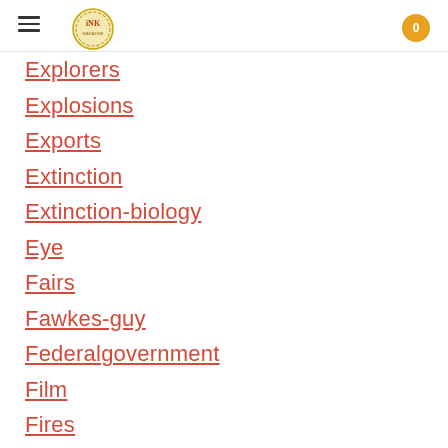INK logo navigation header with cart showing 0 items
Explorers
Explosions
Exports
Extinction
Extinction-biology
Eye
Fairs
Fawkes-guy
Federalgovernment
Film
Fires
Fishes
Flight
Floods
Flowers